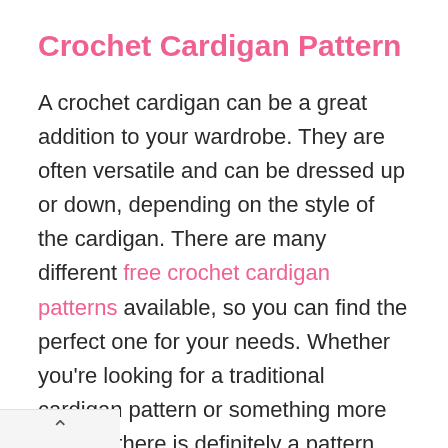Crochet Cardigan Pattern
A crochet cardigan can be a great addition to your wardrobe. They are often versatile and can be dressed up or down, depending on the style of the cardigan. There are many different free crochet cardigan patterns available, so you can find the perfect one for your needs. Whether you’re looking for a traditional cardigan pattern or something more unique, there is definitely a pattern out there that will suit your needs. Plus, crocheting a cardigan is a great way to use up leftover yarn from other projects. So if